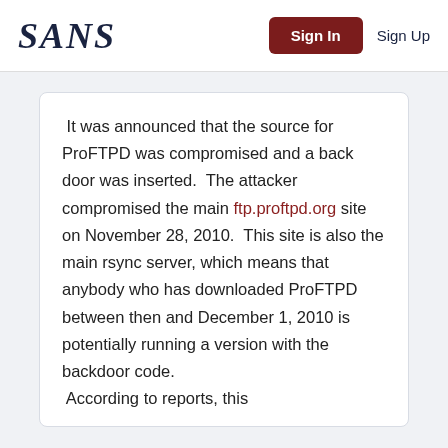SANS  Sign In  Sign Up
It was announced that the source for ProFTPD was compromised and a back door was inserted.  The attacker compromised the main ftp.proftpd.org site on November 28, 2010.  This site is also the main rsync server, which means that anybody who has downloaded ProFTPD between then and December 1, 2010 is potentially running a version with the backdoor code. According to reports, this